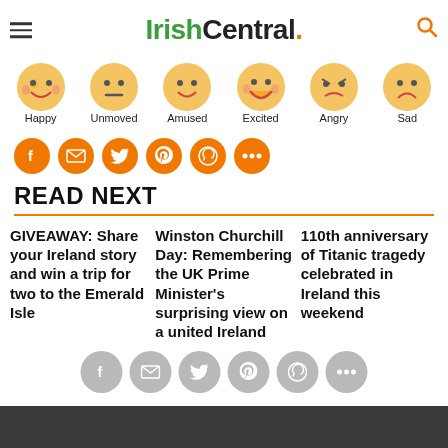IrishCentral.
[Figure (infographic): Emoji reaction icons row: Happy, Unmoved, Amused, Excited, Angry, Sad]
[Figure (infographic): Social share buttons row: Facebook, Email, Twitter, Pinterest, WhatsApp, More]
READ NEXT
GIVEAWAY: Share your Ireland story and win a trip for two to the Emerald Isle
Winston Churchill Day: Remembering the UK Prime Minister's surprising view on a united Ireland
110th anniversary of Titanic tragedy celebrated in Ireland this weekend
[Figure (infographic): Floating social share buttons: Facebook, Email, Twitter, Pinterest, WhatsApp, More (gray, semi-transparent)]